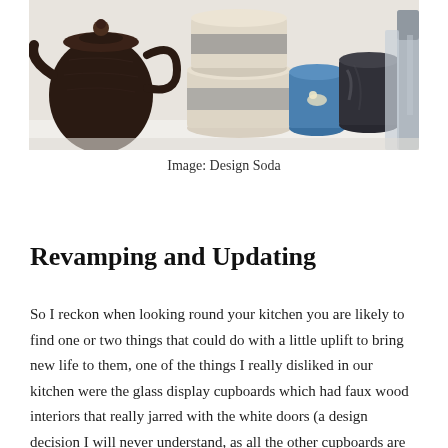[Figure (photo): Photo of kitchen items including a dark cast iron teapot, stacked matte ceramic bowls in cream and grey, a small blue decorative cup with a bird motif, a dark glazed mug, and various bottles and containers on a white kitchen counter.]
Image: Design Soda
Revamping and Updating
So I reckon when looking round your kitchen you are likely to find one or two things that could do with a little uplift to bring new life to them, one of the things I really disliked in our kitchen were the glass display cupboards which had faux wood interiors that really jarred with the white doors (a design decision I will never understand, as all the other cupboards are white inside this was a conscious choice). I